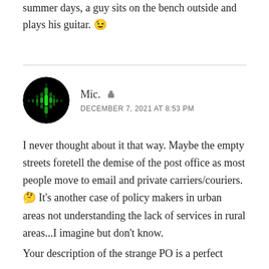summer days, a guy sits on the bench outside and plays his guitar. 😉
[Figure (photo): Circular avatar showing a green audio waveform on a black background]
Mic. 🧑 DECEMBER 7, 2021 AT 8:53 PM
I never thought about it that way. Maybe the empty streets foretell the demise of the post office as most people move to email and private carriers/couriers. 🤔 It's another case of policy makers in urban areas not understanding the lack of services in rural areas...I imagine but don't know.
Your description of the strange PO is a perfect